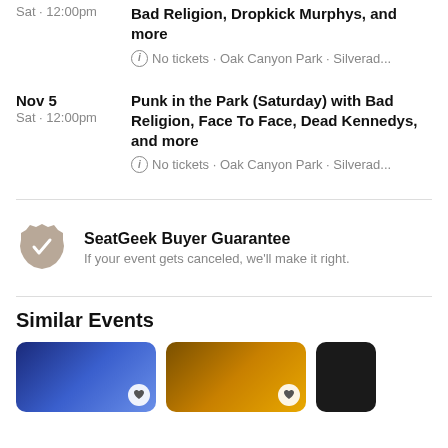Sat · 12:00pm — Bad Religion, Dropkick Murphys, and more — No tickets · Oak Canyon Park · Silverad...
Nov 5 · Sat · 12:00pm — Punk in the Park (Saturday) with Bad Religion, Face To Face, Dead Kennedys, and more — No tickets · Oak Canyon Park · Silverad...
SeatGeek Buyer Guarantee — If your event gets canceled, we'll make it right.
Similar Events
[Figure (photo): Three event card thumbnails showing similar events]